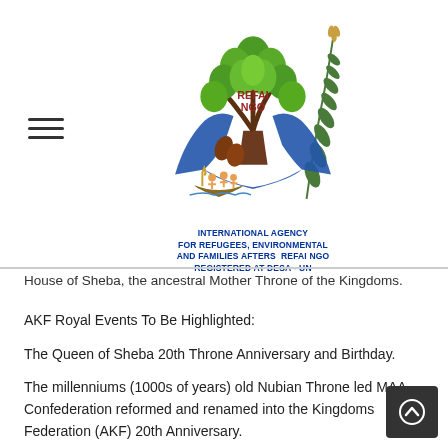[Figure (logo): REFAI NGO logo: a tree with green leaves growing from two blue hands cupping a globe, with a golden wheat/laurel branch on the right side, small figures on a boat at the base, two brown seeds/fruits visible. Below the graphic: text 'INTERNATIONAL AGENCY FOR REFUGEES, ENVIRONMENTAL AND FAMILIES AFTERS REFAI NGO REGISTERED AT DESA - UN' in bold dark blue capitals.]
House of Sheba, the ancestral Mother Throne of the Kingdoms.
AKF Royal Events To Be Highlighted:
The Queen of Sheba 20th Throne Anniversary and Birthday.
The millenniums (1000s of years) old Nubian Throne led MAA Confederation reformed and renamed into the Kingdoms Federation (AKF) 20th Anniversary.